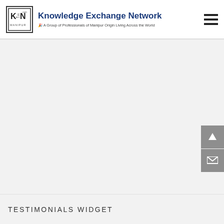Knowledge Exchange Network — A Group of Professionals of Manipur Origin Living Across the World
[Figure (logo): KEN Manipur logo — a square bordered box containing stylized K←N letters with Manipur text below and an arrow motif]
TESTIMONIALS WIDGET